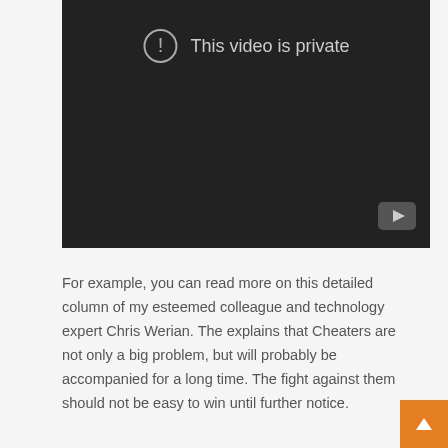[Figure (screenshot): YouTube video player showing 'This video is private' message with an exclamation circle icon on a dark background, and a YouTube logo button in the bottom-right corner.]
For example, you can read more on this detailed column of my esteemed colleague and technology expert Chris Werian. The explains that Cheaters are not only a big problem, but will probably be accompanied for a long time. The fight against them should not be easy to win until further notice.